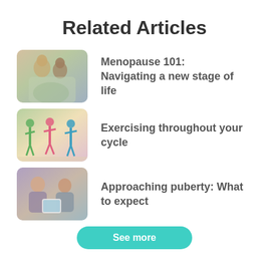Related Articles
[Figure (photo): A couple (woman and man) smiling and embracing outdoors]
Menopause 101: Navigating a new stage of life
[Figure (photo): Group of women doing aerobic exercise in a fitness class]
Exercising throughout your cycle
[Figure (photo): Two young girls looking at a tablet together]
Approaching puberty: What to expect